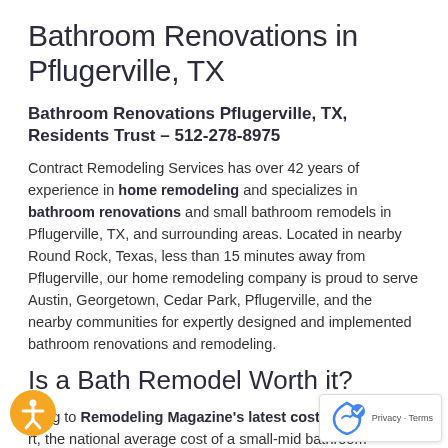Bathroom Renovations in Pflugerville, TX
Bathroom Renovations Pflugerville, TX, Residents Trust – 512-278-8975
Contract Remodeling Services has over 42 years of experience in home remodeling and specializes in bathroom renovations and small bathroom remodels in Pflugerville, TX, and surrounding areas. Located in nearby Round Rock, Texas, less than 15 minutes away from Pflugerville, our home remodeling company is proud to serve Austin, Georgetown, Cedar Park, Pflugerville, and the nearby communities for expertly designed and implemented bathroom renovations and remodeling.
Is a Bath Remodel Worth it?
...rding to Remodeling Magazine's latest cost vs. value report, the national average cost of a small-mid bathroom remodel recoups on average 64%, making it one of the best